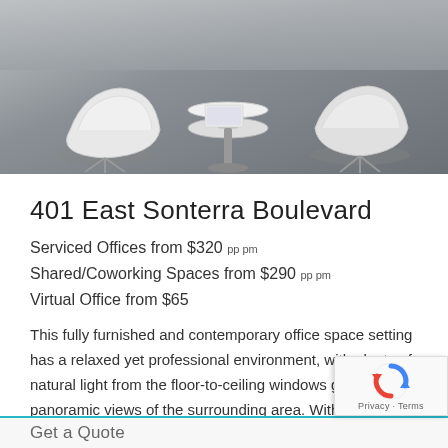[Figure (photo): Interior photo of a modern office lounge area with white pod chairs and a round white side table on a grey floor]
401 East Sonterra Boulevard
Serviced Offices from $320 pp pm
Shared/Coworking Spaces from $290 pp pm
Virtual Office from $65
This fully furnished and contemporary office space setting has a relaxed yet professional environment, with plenty of natural light from the floor-to-ceiling windows giving panoramic views of the surrounding area. With many high-quality facilities within the center on offer it is a great place to work. Including a business lounge, offering a place for... Read More >>
Get a Quote